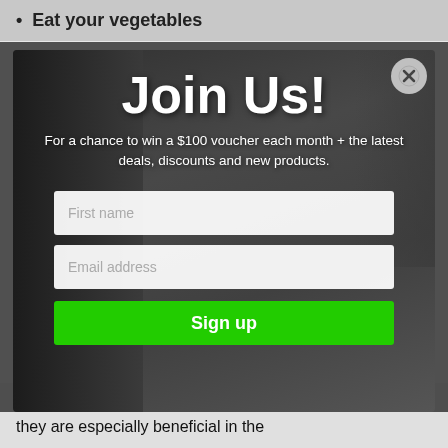Eat your vegetables
[Figure (screenshot): Modal popup overlay on a webpage showing a tattooed person lifting weights in the background. The modal contains a 'Join Us!' newsletter sign-up form with fields for first name and email address, and a green 'Sign up' button. A close (X) button is in the top right corner.]
Whole grains are good for your health at any time. But they are especially beneficial in the